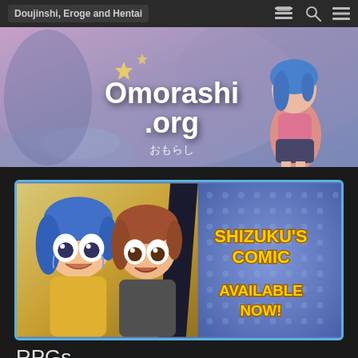Doujinshi, Eroge and Hentai
[Figure (illustration): Omorashi.org website hero banner with anime characters and Japanese text おもらし]
[Figure (illustration): Shizuku's Comic advertisement banner with anime characters. Text reads: SHIZUKU'S COMIC AVAILABLE NOW!]
RPGs
For all Omorashi RPG games.